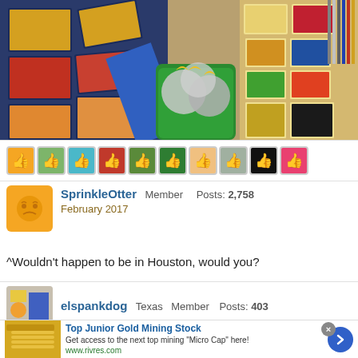[Figure (photo): Photo of LEGO boxes stacked, with decorative baubles in a green bucket and colorful LEGO sets displayed on a surface.]
[Figure (infographic): Row of 10 small avatar/reaction icons with thumbs up symbols on various colored backgrounds.]
SprinkleOtter Member Posts: 2,758
February 2017
^Wouldn't happen to be in Houston, would you?
elspankdog Texas Member Posts: 403
[Figure (screenshot): Advertisement banner: Top Junior Gold Mining Stock. Get access to the next top mining 'Micro Cap' here! www.rivres.com]